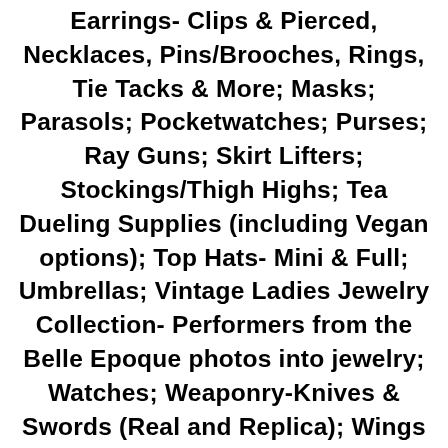Earrings- Clips & Pierced, Necklaces, Pins/Brooches, Rings, Tie Tacks & More; Masks; Parasols; Pocketwatches; Purses; Ray Guns; Skirt Lifters; Stockings/Thigh Highs; Tea Dueling Supplies (including Vegan options); Top Hats- Mini & Full; Umbrellas; Vintage Ladies Jewelry Collection- Performers from the Belle Epoque photos into jewelry; Watches; Weaponry-Knives & Swords (Real and Replica); Wings and More. Starr can also repair your precious jewelry, restring pearls, change pierced earrings to clip earrings or clip earrings to pierced earrings. She can also work with you to design a custom piece of